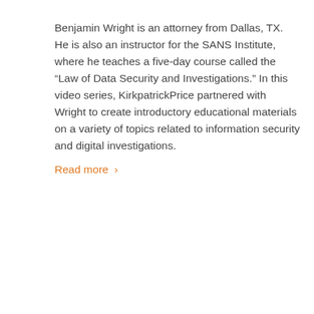Benjamin Wright is an attorney from Dallas, TX. He is also an instructor for the SANS Institute, where he teaches a five-day course called the “Law of Data Security and Investigations.” In this video series, KirkpatrickPrice partnered with Wright to create introductory educational materials on a variety of topics related to information security and digital investigations.
Read more ›
[Figure (photo): A light gray rectangular image placeholder area below the text content]